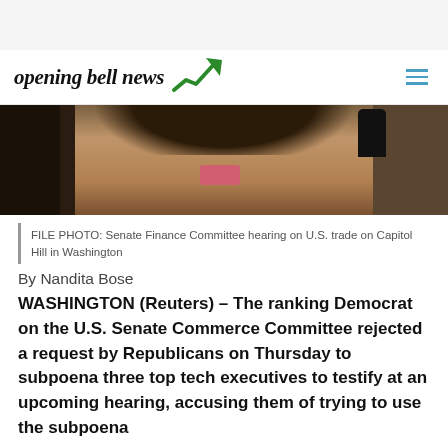[Figure (photo): Cropped photo of a woman with long dark hair seated at a hearing table, a microphone visible to the right, dark chair visible to the left. Senate Finance Committee hearing setting.]
FILE PHOTO: Senate Finance Committee hearing on U.S. trade on Capitol Hill in Washington
By Nandita Bose
WASHINGTON (Reuters) – The ranking Democrat on the U.S. Senate Commerce Committee rejected a request by Republicans on Thursday to subpoena three top tech executives to testify at an upcoming hearing, accusing them of trying to use the subpoena